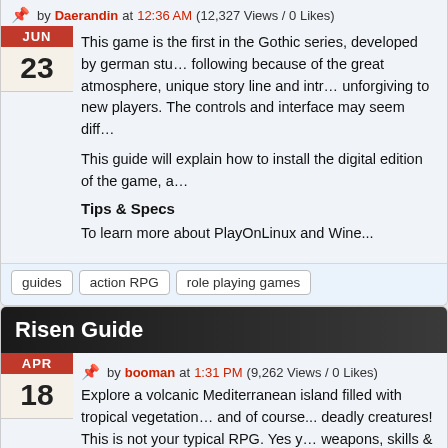📌 by Daerandin at 12:36 AM (12,327 Views / 0 Likes)
This game is the first in the Gothic series, developed by german stu... following because of the great atmosphere, unique story line and intr... unforgiving to new players. The controls and interface may seem diff...
This guide will explain how to install the digital edition of the game, a...
Tips & Specs
To learn more about PlayOnLinux and Wine...
guides
action RPG
role playing games
Risen Guide
📌 by booman at 1:31 PM (9,262 Views / 0 Likes)
Explore a volcanic Mediterranean island filled with tropical vegetation... and of course... deadly creatures! This is not your typical RPG. Yes y... weapons, skills & exploration but Risen is more like a simulation bec... character.